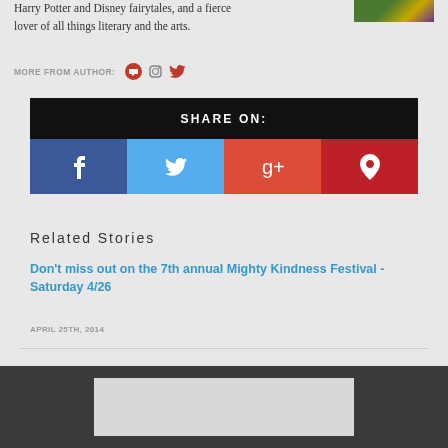Harry Potter and Disney fairytales, and a fierce lover of all things literary and the arts.
MORE FROM AUTHOR:
SHARE ON:
Related Stories
Don't miss out on the 7th annual Mighty Kindness Festival - Saturday 4/26
APRIL 25TH, 2014
[Figure (other): Advertisement banner placeholder in dark footer]